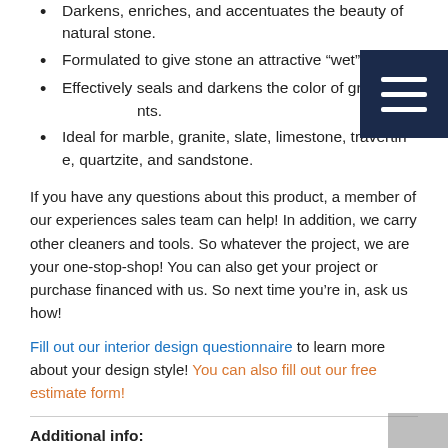Darkens, enriches, and accentuates the beauty of natural stone.
Formulated to give stone an attractive “wet” look.
Effectively seals and darkens the color of grout joints.
Ideal for marble, granite, slate, limestone, travertine, quartzite, and sandstone.
If you have any questions about this product, a member of our experiences sales team can help! In addition, we carry other cleaners and tools. So whatever the project, we are your one-stop-shop! You can also get your project or purchase financed with us. So next time you’re in, ask us how!
Fill out our interior design questionnaire to learn more about your design style! You can also fill out our free estimate form!
Additional info:
Do you need help with your next remodel or project? We can help! We are The Builder’s and Remodeler’s Choice for all your